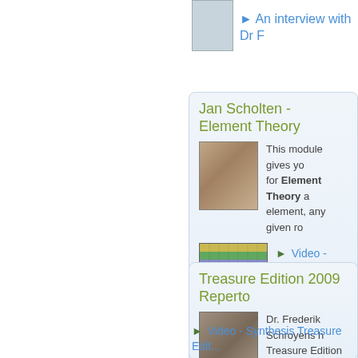► An interview with Dr F
Jan Scholten - Element Theory
[Figure (photo): Portrait photo of Jan Scholten]
This module gives you... for Element Theory a... element, any given ro...
[Figure (photo): Image of periodic table book/chart]
► Video - Scholten's
Treasure Edition 2009 Repertory
[Figure (photo): Portrait photo of Dr. Frederik Schroyens]
Dr. Frederik Schroyens h... Treasure Edition of the S... (standard in all new RAD... purchase for current RA...
► Video - Synthesis Treasure Edit...